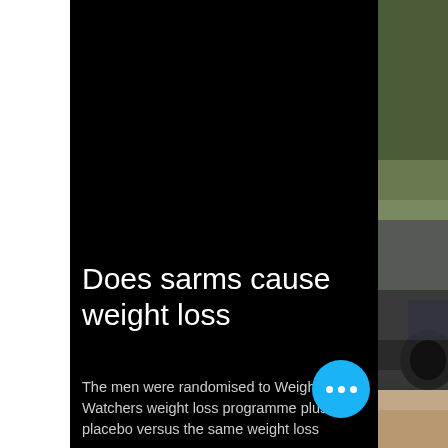[Figure (screenshot): A screenshot of a web page or app interface showing a black video/media panel in the center, a white strip on the left, and a partial outdoor photo on the right showing a vehicle and greenery. The center black area contains article text at the bottom.]
Does sarms cause weight loss
The men were randomised to Weight Watchers weight loss programme plus placebo versus the same weight loss